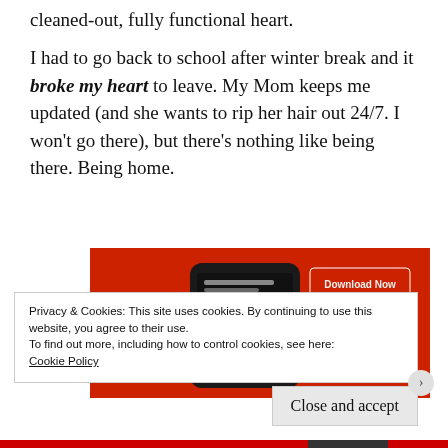cleaned-out, fully functional heart.
I had to go back to school after winter break and it broke my heart to leave. My Mom keeps me updated (and she wants to rip her hair out 24/7. I won't go there), but there's nothing like being there. Being home.
[Figure (photo): A smartphone on a red background showing a podcast/music app with a 'Download Now' button visible, advertisement image.]
Privacy & Cookies: This site uses cookies. By continuing to use this website, you agree to their use.
To find out more, including how to control cookies, see here:
Cookie Policy
Close and accept